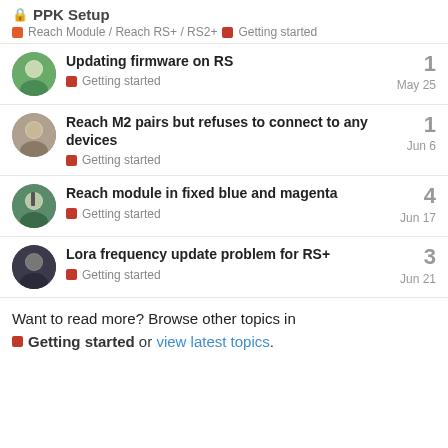🔒 PPK Setup
Reach Module / Reach RS+ / RS2+  Getting started
Updating firmware on RS
Getting started
1
May 25
Reach M2 pairs but refuses to connect to any devices
Getting started
1
Jun 6
Reach module in fixed blue and magenta
Getting started
4
Jun 17
Lora frequency update problem for RS+
Getting started
3
Jun 21
Want to read more? Browse other topics in Getting started or view latest topics.